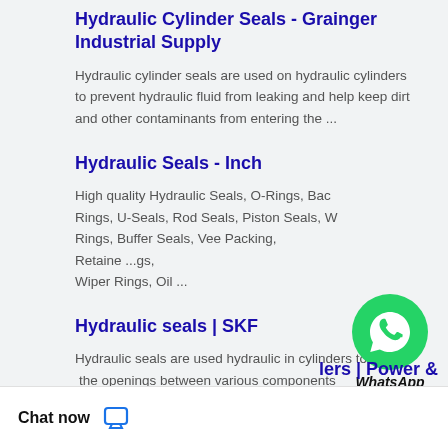Hydraulic Cylinder Seals - Grainger Industrial Supply
Hydraulic cylinder seals are used on hydraulic cylinders to prevent hydraulic fluid from leaking and help keep dirt and other contaminants from entering the ...
Hydraulic Seals - Inch
High quality Hydraulic Seals, O-Rings, Back Rings, U-Seals, Rod Seals, Piston Seals, Wiper Rings, Buffer Seals, Vee Packing, Retaining Rings, Wiper Rings, Oil ...
[Figure (illustration): WhatsApp Online chat bubble icon - green circle with phone handset icon, labeled WhatsApp Online in italic bold text]
Hydraulic seals | SKF
Hydraulic seals are used hydraulic in cylinders to the openings between various components e hydraulic cylinder. Seals are either ded or ...
[Figure (screenshot): Popup overlay with X close button and three dots menu icon in a white rounded rectangle]
lers | Power &
Chat now